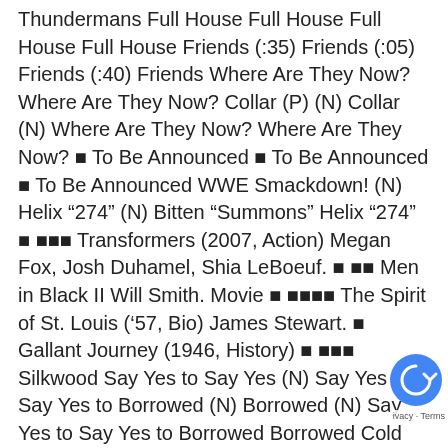Thundermans Full House Full House Full House Full House Friends (:35) Friends (:05) Friends (:40) Friends Where Are They Now? Where Are They Now? Collar (P) (N) Collar (N) Where Are They Now? Where Are They Now? ▪ To Be Announced ▪ To Be Announced ▪ To Be Announced WWE Smackdown! (N) Helix "274" (N) Bitten "Summons" Helix "274" ▪ ▪▪▪ Transformers (2007, Action) Megan Fox, Josh Duhamel, Shia LeBoeuf. ▪ ▪▪ Men in Black II Will Smith. Movie ▪ ▪▪▪▪ The Spirit of St. Louis ('57, Bio) James Stewart. ▪ Gallant Journey (1946, History) ▪ ▪▪▪ Silkwood Say Yes to Say Yes (N) Say Yes (N) Say Yes to Borrowed (N) Borrowed (N) Say Yes to Say Yes to Borrowed Borrowed Cold Justice "Gone" APB With Troy Dunn Cold Justice "Gone" APB With Troy Dunn Hawaii Five-0 Ghost Adventures Ghost Adventures The Dead Files The Dead Files Ghost Adventures A. Griffith A. Griffith Loves Ray Loves Ray Loves Ray Loves Ray Loves Ray Loves Ray King-Queens King-Queens Law